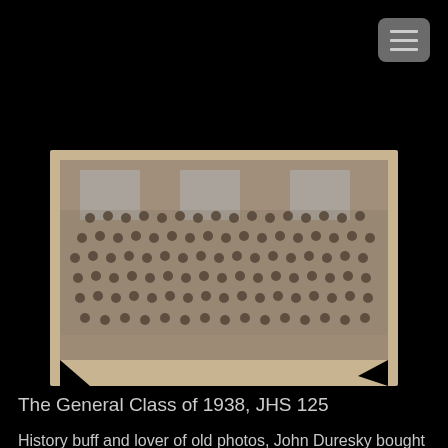[Figure (photo): Old sepia-toned class photograph showing a large group of students posed in rows in front of a building, appears to be from approximately 1938. The photo is mounted on light cardboard with torn/missing corners.]
The General Class of 1938, JHS 125
History buff and lover of old photos, John Duresky bought this photo in a Goodwill Store in Phoenix Arizona.